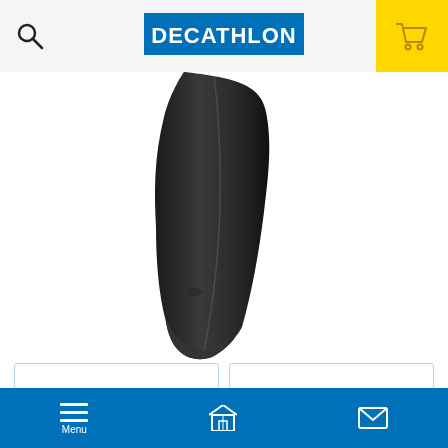[Figure (logo): Decathlon logo — white text on blue rectangle, centered in header]
[Figure (photo): Black cycling leg warmer product photo on white background]
Made for
Stay warm in winter thanks to these leg warmers! Their fleece lining means you can cycle in comfort and stay insulated from the cold. MORE